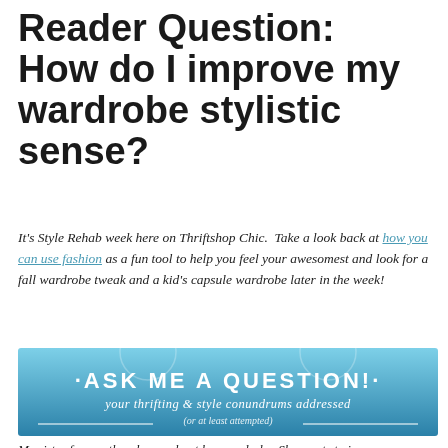Reader Question: How do I improve my wardrobe stylistic sense?
It's Style Rehab week here on Thriftshop Chic.  Take a look back at how you can use fashion as a fun tool to help you feel your awesomest and look for a fall wardrobe tweak and a kid's capsule wardrobe later in the week!
[Figure (illustration): Blue gradient banner image with decorative text reading 'ASK ME A QUESTION!' and subtitle 'your thrifting & style conundrums addressed (or at least attempted)']
My sister frequently asks me about her wardrobe. She wants to improve...